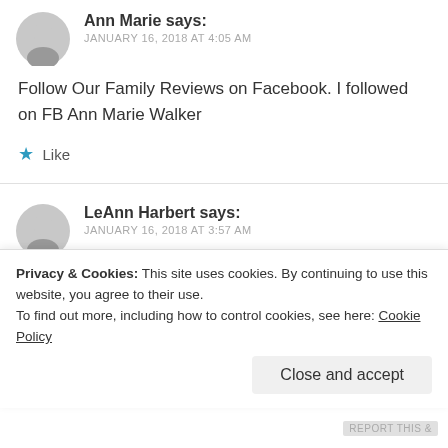Ann Marie says:
JANUARY 16, 2018 AT 4:05 AM
Follow Our Family Reviews on Facebook. I followed on FB Ann Marie Walker
★ Like
LeAnn Harbert says:
JANUARY 16, 2018 AT 3:57 AM
I tweeted @Triplejjjfarms
Privacy & Cookies: This site uses cookies. By continuing to use this website, you agree to their use.
To find out more, including how to control cookies, see here: Cookie Policy
Close and accept